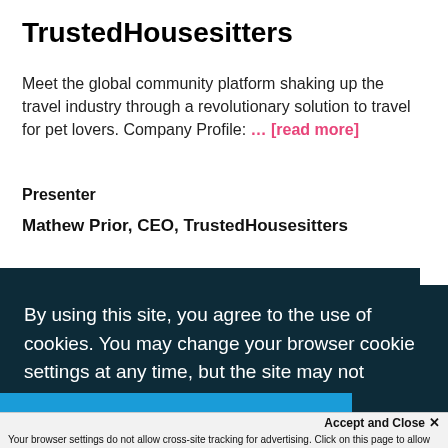TrustedHousesitters
Meet the global community platform shaking up the travel industry through a revolutionary solution to travel for pet lovers. Company Profile: … [read more]
Presenter
Mathew Prior, CEO, TrustedHousesitters
By using this site, you agree to the use of cookies. You may change your browser cookie settings at any time, but the site may not function. Learn More
Accept and Close ×
Your browser settings do not allow cross-site tracking for advertising. Click on this page to allow AdRoll to use cross-site tracking to tailor ads to you. Learn more or opt out of this AdRoll tracking by clicking here. This message only appears once.